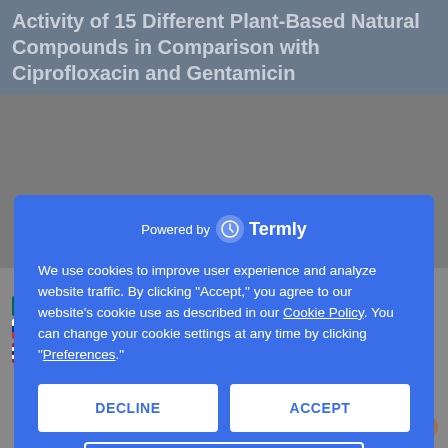Activity of 15 Different Plant-Based Natural Compounds in Comparison with Ciprofloxacin and Gentamicin
[Figure (screenshot): Cookie consent overlay powered by Termly with Decline, Accept, and Preferences buttons on a blue background]
We use cookies to improve user experience and analyze website traffic. By clicking “Accept,” you agree to our website’s cookie use as described in our Cookie Policy. You can change your cookie settings at any time by clicking “Preferences.”
[Figure (screenshot): Row of country flag icons for language selection and a Calendly powered badge at the bottom]